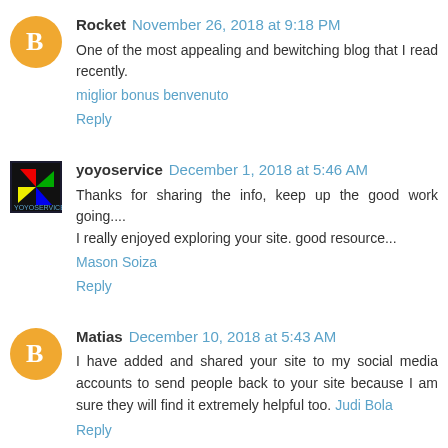Rocket November 26, 2018 at 9:18 PM
One of the most appealing and bewitching blog that I read recently.
miglior bonus benvenuto
Reply
yoyoservice December 1, 2018 at 5:46 AM
Thanks for sharing the info, keep up the good work going.... I really enjoyed exploring your site. good resource...
Mason Soiza
Reply
Matias December 10, 2018 at 5:43 AM
I have added and shared your site to my social media accounts to send people back to your site because I am sure they will find it extremely helpful too. Judi Bola
Reply